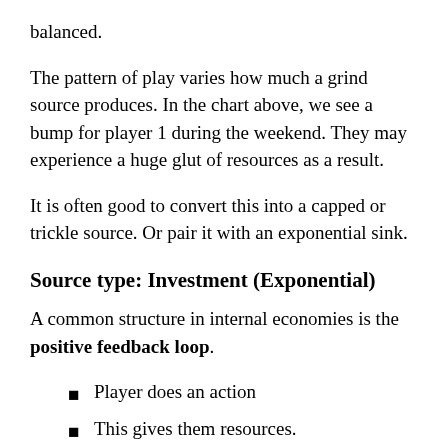balanced.
The pattern of play varies how much a grind source produces. In the chart above, we see a bump for player 1 during the weekend. They may experience a huge glut of resources as a result.
It is often good to convert this into a capped or trickle source. Or pair it with an exponential sink.
Source type: Investment (Exponential)
A common structure in internal economies is the positive feedback loop.
Player does an action
This gives them resources.
But these resources 'feed back' into the original